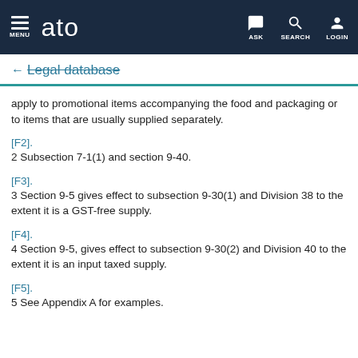MENU | ato | ASK | SEARCH | LOGIN
Legal database
apply to promotional items accompanying the food and packaging or to items that are usually supplied separately.
[F2].
2 Subsection 7-1(1) and section 9-40.
[F3].
3 Section 9-5 gives effect to subsection 9-30(1) and Division 38 to the extent it is a GST-free supply.
[F4].
4 Section 9-5, gives effect to subsection 9-30(2) and Division 40 to the extent it is an input taxed supply.
[F5].
5 See Appendix A for examples.